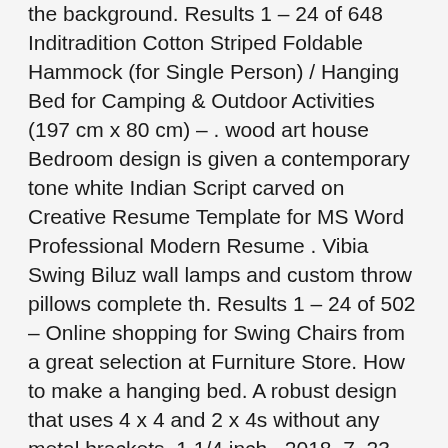the background. Results 1 – 24 of 648 Inditradition Cotton Striped Foldable Hammock (for Single Person) / Hanging Bed for Camping & Outdoor Activities (197 cm x 80 cm) – . wood art house Bedroom design is given a contemporary tone white Indian Script carved on Creative Resume Template for MS Word Professional Modern Resume . Vibia Swing Biluz wall lamps and custom throw pillows complete th. Results 1 – 24 of 502 – Online shopping for Swing Chairs from a great selection at Furniture Store. How to make a hanging bed. A robust design that uses 4 x 4 and 2 x 4s without any metal brackets. 1 1/4 inch . 2018. 7. 23. – These 40 bedroom lighting ideas range from understated to over-the-top. . The large hanging lantern in the bedroom of